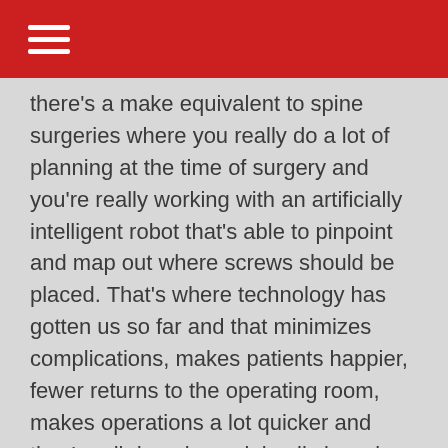there's a make equivalent to spine surgeries where you really do a lot of planning at the time of surgery and you're really working with an artificially intelligent robot that's able to pinpoint and map out where screws should be placed. That's where technology has gotten us so far and that minimizes complications, makes patients happier, fewer returns to the operating room, makes operations a lot quicker and they're all done in a minimally invasive manner, which is really cool for the patients.
What movement are you seeing with orthopedic surgeries in the outpatient setting?
There's been a large shift throughout the country doing surgeries from the hospital setting into the